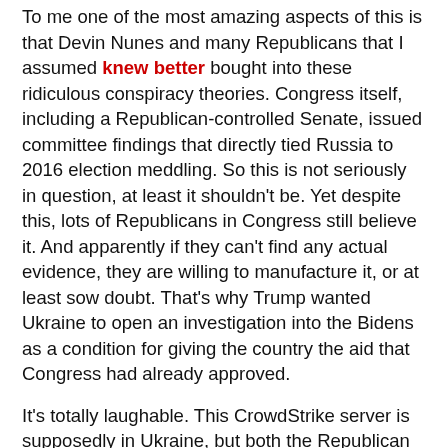To me one of the most amazing aspects of this is that Devin Nunes and many Republicans that I assumed knew better bought into these ridiculous conspiracy theories. Congress itself, including a Republican-controlled Senate, issued committee findings that directly tied Russia to 2016 election meddling. So this is not seriously in question, at least it shouldn't be. Yet despite this, lots of Republicans in Congress still believe it. And apparently if they can't find any actual evidence, they are willing to manufacture it, or at least sow doubt. That's why Trump wanted Ukraine to open an investigation into the Bidens as a condition for giving the country the aid that Congress had already approved.
It's totally laughable. This CrowdStrike server is supposedly in Ukraine, but both the Republican National Committee and the Democratic National Committee contract with CrowdStrike to store their information.
Republicans don't seem to understand what CrowdStrike actually is: an Information Services provider, based not in Ukraine but in Sunnydale, California, not too far from Devin Nunes' congressional district. CrowdStrike specializes in cyber-security, important for both the RNC and the DNC, and helped